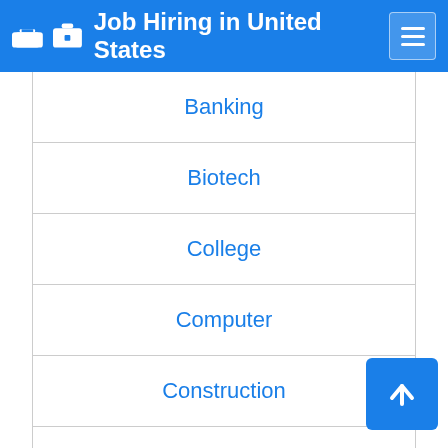Job Hiring in United States
Banking
Biotech
College
Computer
Construction
Criminal Justice
Counselling
Design
Education